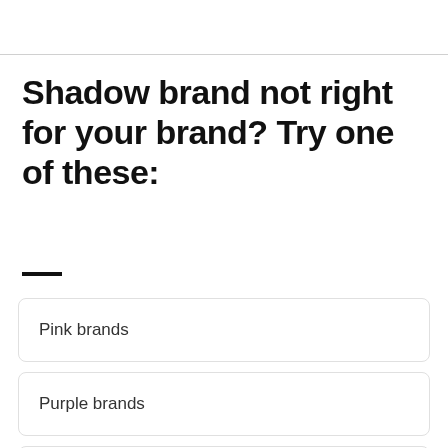Shadow brand not right for your brand? Try one of these:
Pink brands
Purple brands
Blue brands